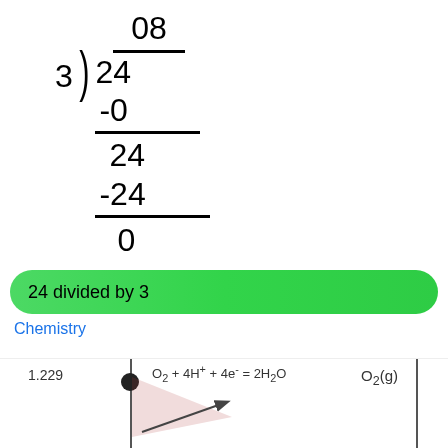24 divided by 3
Chemistry
[Figure (engineering-diagram): Electrochemistry diagram showing O2 + 4H+ + 4e- = 2H2O reaction at 1.229V with O2(g) label, vertical axis line, shaded triangular area, and arrow]